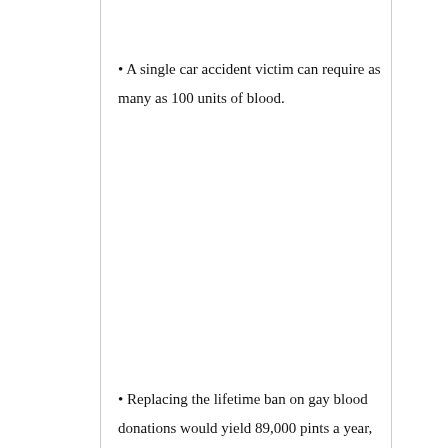• A single car accident victim can require as many as 100 units of blood.
• Replacing the lifetime ban on gay blood donations would yield 89,000 pints a year, according to a study by the Williams Institute at the UCLA School of Law.